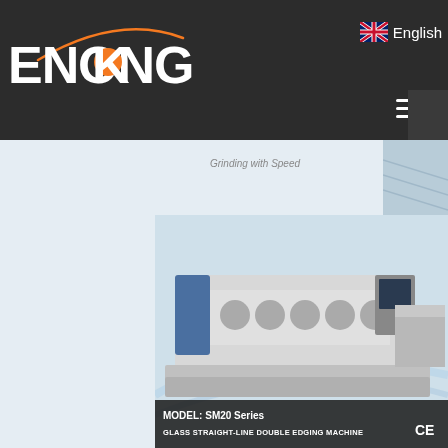ENKONG — English
[Figure (screenshot): Enkong website screenshot showing glass straight-line double edging machine (MODEL: SM20 Series) product listing with partial image of grinding machine at top and ENKONGS branding at bottom with Chat Online button]
Grinding with Speed
MODEL: SM20 Series
GLASS STRAIGHT-LINE DOUBLE EDGING MACHINE
Glass straight-line double ed...
ENKONGS
With You To The Bright Edge
Chat Online